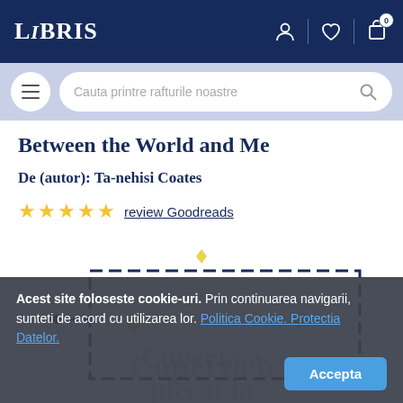LIBRIS
[Figure (screenshot): Libris.ro website header with navigation icons (user, heart, cart with 0 badge), search bar with hamburger menu, book product page showing 'Between the World and Me' by Ta-nehisi Coates with 5-star Goodreads rating, dashed-border image placeholder with yellow diamond decorations, partially visible cover text 'Coperta a plecat la citit. O' watermarked behind cookie banner.]
Between the World and Me
De (autor): Ta-nehisi Coates
★★★★★ review Goodreads
Acest site foloseste cookie-uri. Prin continuarea navigarii, sunteti de acord cu utilizarea lor. Politica Cookie. Protectia Datelor.